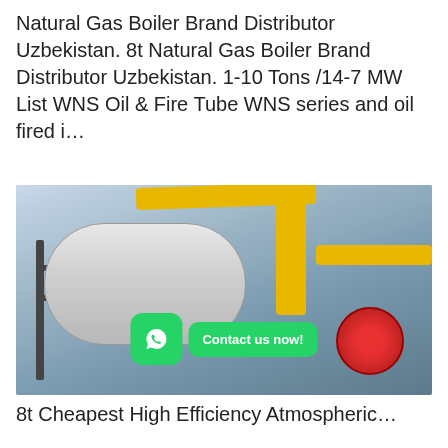Natural Gas Boiler Brand Distributor Uzbekistan. 8t Natural Gas Boiler Brand Distributor Uzbekistan. 1-10 Tons /14-7 MW List WNS Oil & Fire Tube WNS series and oil fired i…
[Figure (other): Button labeled 'Get Price' with cyan/blue background]
[Figure (photo): Industrial natural gas fire tube boiler in a boiler room, with yellow pipes, black metal frame, and red burner. WhatsApp icon and 'Contact us now!' green button overlaid on bottom right.]
8t Cheapest High Efficiency Atmospheric…